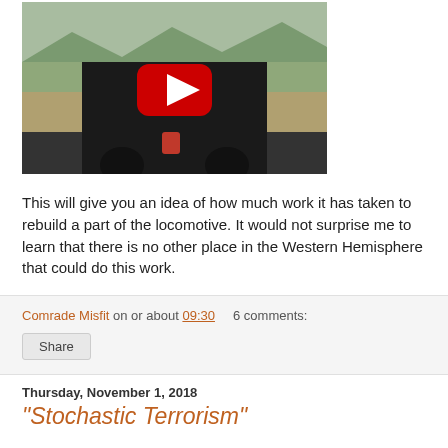[Figure (screenshot): YouTube video thumbnail showing a locomotive on railroad tracks with a YouTube play button overlay]
This will give you an idea of how much work it has taken to rebuild a part of the locomotive. It would not surprise me to learn that there is no other place in the Western Hemisphere that could do this work.
Comrade Misfit on or about 09:30    6 comments:
Share
Thursday, November 1, 2018
"Stochastic Terrorism"
It's a term that I had not heard before.